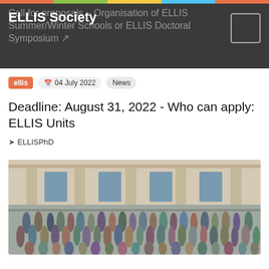ELLIS Society — Call for proposals – Organisation of ELLIS Summer/Winter Schools or ELLIS Doctoral Symposium
ellis  04 July 2022  News
Deadline: August 31, 2022 - Who can apply: ELLIS Units
ELLISPhD
[Figure (photo): Large group photo of researchers standing and sitting in front of a grand building with columns and ornate facade, outdoor event.]